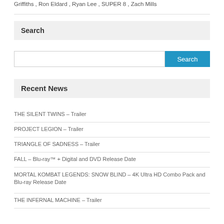Griffiths , Ron Eldard , Ryan Lee , SUPER 8 , Zach Mills
Search
Search
Recent News
THE SILENT TWINS – Trailer
PROJECT LEGION – Trailer
TRIANGLE OF SADNESS – Trailer
FALL – Blu-ray™ + Digital and DVD Release Date
MORTAL KOMBAT LEGENDS: SNOW BLIND – 4K Ultra HD Combo Pack and Blu-ray Release Date
THE INFERNAL MACHINE – Trailer